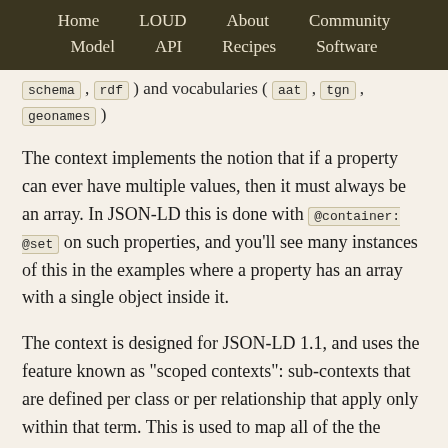Home  LOUD  About  Community  Model  API  Recipes  Software
schema , rdf ) and vocabularies ( aat , tgn , geonames )
The context implements the notion that if a property can ever have multiple values, then it must always be an array. In JSON-LD this is done with @container: @set on such properties, and you'll see many instances of this in the examples where a property has an array with a single object inside it.
The context is designed for JSON-LD 1.1, and uses the feature known as "scoped contexts": sub-contexts that are defined per class or per relationship that apply only within that term. This is used to map all of the the various partitioning relationships to part and part_of , regardless of the type of resource being partitioned. This